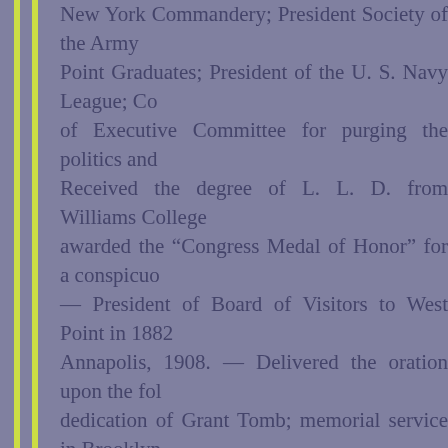New York Commandery; President Society of the Army of West Point Graduates; President of the U. S. Navy League; Co of Executive Committee for purging the politics and Received the degree of L. L. D. from Williams College awarded the "Congress Medal of Honor" for a conspicuo — President of Board of Visitors to West Point in 1882 Annapolis, 1908. — Delivered the oration upon the fol dedication of Grant Tomb; memorial service in Brooklyn bust of General Hancock, New York City; celebra Oswego, N. Y., by the British; dedication of Washington College of Physicians and Surgeons of New York; unve of the Soldiers' Monuments at Trenton, N. J., in Pro centennial of the founding of the U. S. Military Academ the body of John Paul Jones at Annapolis Naval Acade Sailors' Memorial at Pittsburg; unveiling of the Sheridan of the statues of Washington, Lafayette and Rochambe French language); unveiling of the Rochambeau statue Campaigning with Grant, and numerous magazine article